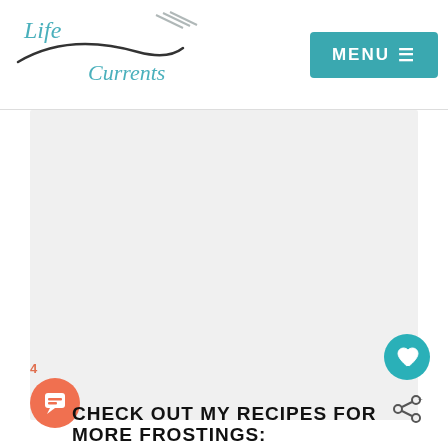Life Currents  MENU
[Figure (photo): Large light grey rectangle placeholder for a food/recipe photo]
CHECK OUT MY RECIPES FOR MORE FROSTINGS: